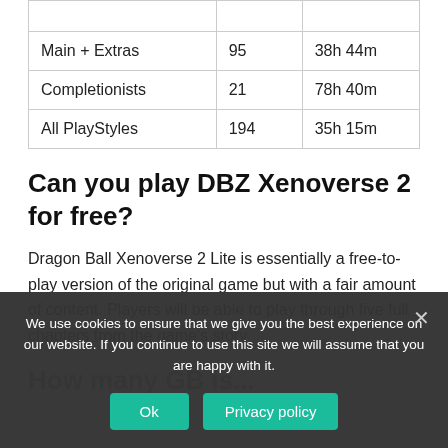|  |  |  |
| --- | --- | --- |
|  |  |  |
| Main + Extras | 95 | 38h 44m |
| Completionists | 21 | 78h 40m |
| All PlayStyles | 194 | 35h 15m |
Can you play DBZ Xenoverse 2 for free?
Dragon Ball Xenoverse 2 Lite is essentially a free-to-play version of the original game but with a fair amount of content. Players will be able to play through five full chapters from the game's story
How many GB is...
We use cookies to ensure that we give you the best experience on our website. If you continue to use this site we will assume that you are happy with it.